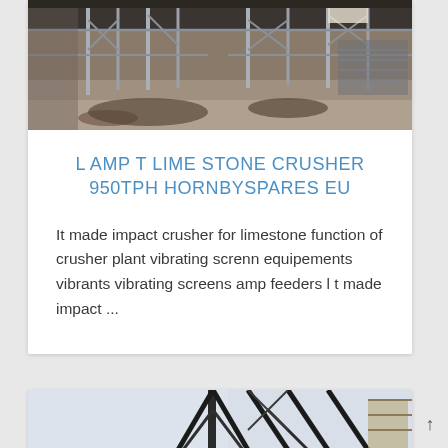[Figure (photo): Industrial crusher/screening plant interior showing metal scaffolding, columns, and structural steel framework on a concrete floor]
L AMP T LIME STONE CRUSHER 950TPH HORNBYSPARES EU
It made impact crusher for limestone function of crusher plant vibrating screnn equipements vibrants vibrating screens amp feeders l t made impact ...
[Figure (photo): Partial view of industrial machinery/structure with steel framework against a light sky background]